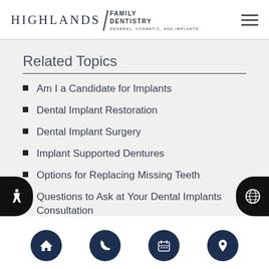HIGHLANDS FAMILY DENTISTRY — GENERAL, COSMETIC, AND IMPLANTS
Related Topics
Am I a Candidate for Implants
Dental Implant Restoration
Dental Implant Surgery
Implant Supported Dentures
Options for Replacing Missing Teeth
Questions to Ask at Your Dental Implants Consultation